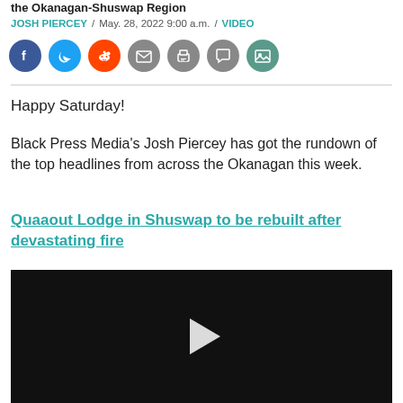the Okanagan-Shuswap Region
JOSH PIERCEY / May. 28, 2022 9:00 a.m. / VIDEO
[Figure (infographic): Social share icons: Facebook, Twitter, Reddit, Email, Print, Comment, Gallery]
Happy Saturday!
Black Press Media's Josh Piercey has got the rundown of the top headlines from across the Okanagan this week.
Quaaout Lodge in Shuswap to be rebuilt after devastating fire
[Figure (screenshot): Black video player with play button and chevron up arrow]